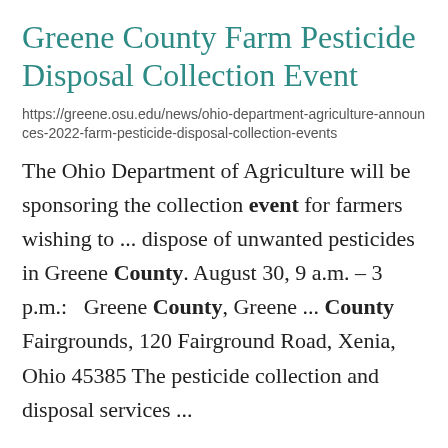Greene County Farm Pesticide Disposal Collection Event
https://greene.osu.edu/news/ohio-department-agriculture-announces-2022-farm-pesticide-disposal-collection-events
The Ohio Department of Agriculture will be sponsoring the collection event for farmers wishing to ... dispose of unwanted pesticides in Greene County. August 30, 9 a.m. – 3 p.m.:   Greene County, Greene ... County Fairgrounds, 120 Fairground Road, Xenia, Ohio 45385 The pesticide collection and disposal services ...
Wilson named field specialist, Ag